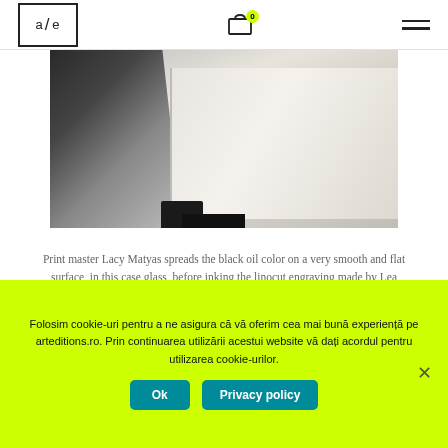a/e logo, cart icon with badge 0, hamburger menu
[Figure (photo): Photo of print master Lacy Matyas working on a linocut engraving, spreading black oil color on a smooth glass surface. Dark printmaking blocks visible on left, white paper sheets on right.]
Print master Lacy Matyas spreads the black oil color on a very smooth and flat surface, in this case glass, before inking the linocut engraving made by Lea Rasovszky.
Folosim cookie-uri pentru a ne asigura că vă oferim cea mai bună experiență pe arteditions.ro. Prin continuarea utilizării acestui website vă dați acordul pentru utilizarea cookie-urilor.